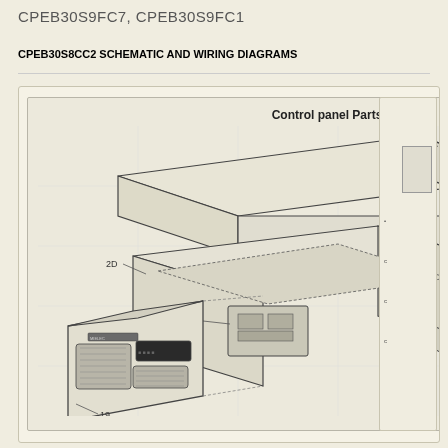CPEB30S9FC7, CPEB30S9FC1
CPEB30S8CC2 SCHEMATIC AND WIRING DIAGRAMS
[Figure (engineering-diagram): Control panel Parts diagram showing an exploded isometric view of a control panel assembly. The diagram includes labeled parts with callout numbers: 2D (top left area), 2A (upper right of assembly), 20 (middle area), 19 (bottom left, front panel with speaker grille and display). The assembly shows the front control panel face, internal chassis, and a separate upper lid/cover component.]